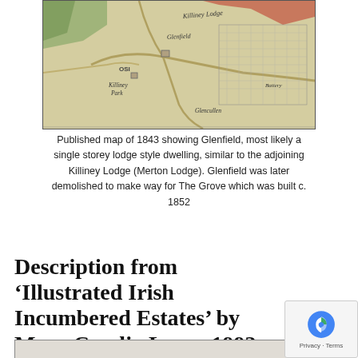[Figure (map): Published map of 1843 showing Glenfield area with labels including Killiney Lodge, Glenfield, Killiney Park, Battery, and Glencullen. Vintage cartographic style with roads, fields, and annotations in italic script.]
Published map of 1843 showing Glenfield, most likely a single storey lodge style dwelling, similar to the adjoining Killiney Lodge (Merton Lodge). Glenfield was later demolished to make way for The Grove which was built c. 1852
Description from ‘Illustrated Irish Incumbered Estates’ by Mary Cecelia Lyons 1993
[Figure (photo): Bottom portion of a photograph or document image, partially visible at the bottom of the page.]